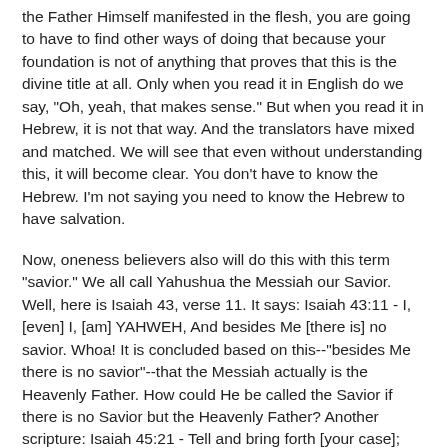the Father Himself manifested in the flesh, you are going to have to find other ways of doing that because your foundation is not of anything that proves that this is the divine title at all. Only when you read it in English do we say, "Oh, yeah, that makes sense." But when you read it in Hebrew, it is not that way. And the translators have mixed and matched. We will see that even without understanding this, it will become clear. You don't have to know the Hebrew. I'm not saying you need to know the Hebrew to have salvation.
Now, oneness believers also will do this with this term "savior." We all call Yahushua the Messiah our Savior. Well, here is Isaiah 43, verse 11. It says: Isaiah 43:11 - I, [even] I, [am] YAHWEH, And besides Me [there is] no savior. Whoa! It is concluded based on this--"besides Me there is no savior"--that the Messiah actually is the Heavenly Father. How could He be called the Savior if there is no Savior but the Heavenly Father? Another scripture: Isaiah 45:21 - Tell and bring forth [your case]; Yes, let them take counsel together. Who has declared this from ancient time? [Who] has told it from that time? [Have] not I, YAHWEH? And [there is] no other Elohim besides Me, A just Elohim and a Savior; [There is] none besides Me. Get the [same idea] this is being repeated over and over